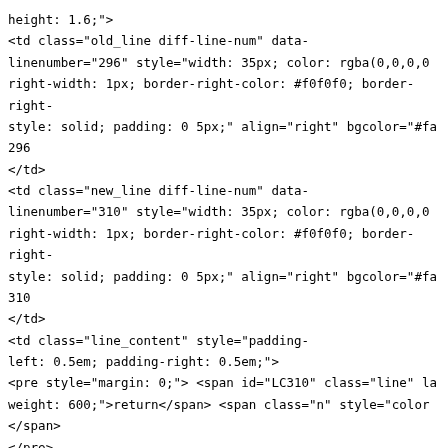height: 1.6;">
<td class="old_line diff-line-num" data-
linenumber="296" style="width: 35px; color: rgba(0,0,0,0
right-width: 1px; border-right-color: #f0f0f0; border-
right-
style: solid; padding: 0 5px;" align="right" bgcolor="#fa
296
</td>
<td class="new_line diff-line-num" data-
linenumber="310" style="width: 35px; color: rgba(0,0,0,0
right-width: 1px; border-right-color: #f0f0f0; border-
right-
style: solid; padding: 0 5px;" align="right" bgcolor="#fa
310
</td>
<td class="line_content" style="padding-
left: 0.5em; padding-right: 0.5em;">
<pre style="margin: 0;"> <span id="LC310" class="line" la
weight: 600;">return</span> <span class="n" style="color
</span>
</pre>
</td>
</tr>
<tr class="line_holder" id="" style="line-
height: 1.6;">
<td class="old_line diff-line-num" data-
linenumber="297" style="width: 35px; color: rgba(0,0,0,0
right-width: 1px; border-right-color: #f0f0f0; border-
right-
style: solid; padding: 0 5px;" align="right" bgcolor="#fa